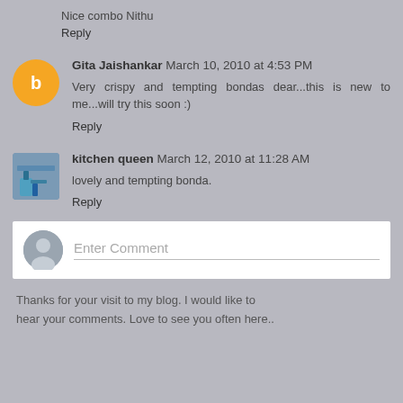Nice combo Nithu
Reply
Gita Jaishankar March 10, 2010 at 4:53 PM
Very crispy and tempting bondas dear...this is new to me...will try this soon :)
Reply
kitchen queen March 12, 2010 at 11:28 AM
lovely and tempting bonda.
Reply
[Figure (other): Enter Comment input box with default user avatar]
Thanks for your visit to my blog. I would like to hear your comments. Love to see you often here..